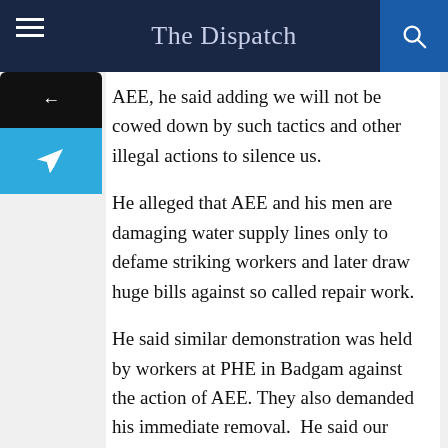The Dispatch
AEE, he said adding we will not be cowed down by such tactics and other illegal actions to silence us.
He alleged that AEE and his men are damaging water supply lines only to defame striking workers and later draw huge bills against so called repair work.
He said similar demonstration was held by workers at PHE in Badgam against the action of AEE. They also demanded his immediate removal.  He said our struggle for regularization of services is and will